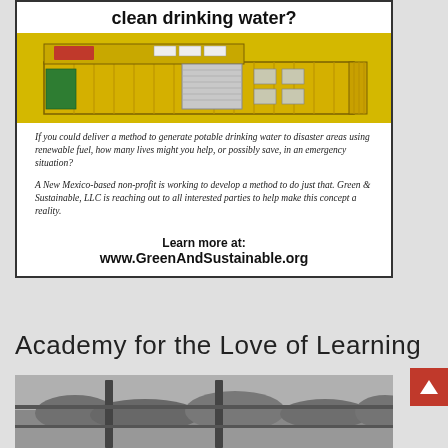clean drinking water?
[Figure (photo): Yellow shipping container modified as a water purification unit, shown from an angled top-down perspective]
If you could deliver a method to generate potable drinking water to disaster areas using renewable fuel, how many lives might you help, or possibly save, in an emergency situation?
A New Mexico-based non-profit is working to develop a method to do just that. Green & Sustainable, LLC is reaching out to all interested parties to help make this concept a reality.
Learn more at:
www.GreenAndSustainable.org
Academy for the Love of Learning
[Figure (photo): Black and white landscape photo showing trees and terrain viewed through vertical fence posts or railings]